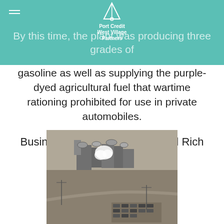Port Credit West Village Partners
By this time, the plant was producing three grades of gasoline as well as supplying the purple-dyed agricultural fuel that wartime rationing prohibited for use in private automobiles.
Business was booming for Good Rich during the war years
[Figure (photo): Black and white aerial photograph of an industrial plant facility, showing storage tanks, buildings, and a parking area with vehicles]